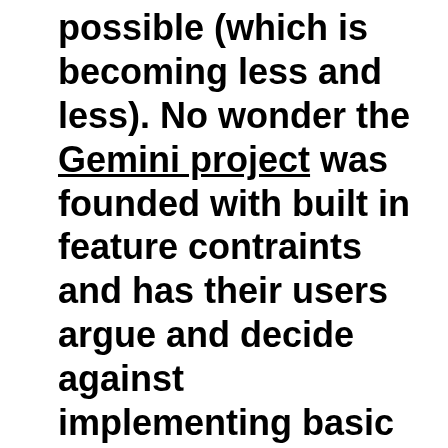much as it is still possible (which is becoming less and less). No wonder the Gemini project was founded with built in feature contraints and has their users argue and decide against implementing basic features into the protocol that would help make browsing the gemini space a more comfortable experience. From the technological view, openness to new festures, the extendibility of the protocol, has made the mess the web is today possible.